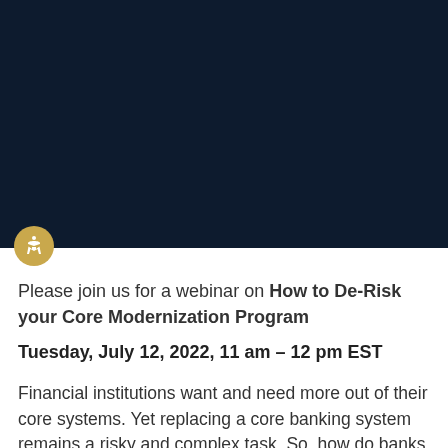[Figure (photo): Dark navy blue hero image background, likely a webinar or conference visual]
Please join us for a webinar on How to De-Risk your Core Modernization Program
Tuesday, July 12, 2022, 11 am – 12 pm EST
Financial institutions want and need more out of their core systems. Yet replacing a core banking system remains a risky and complex task. So, how do banks get started?